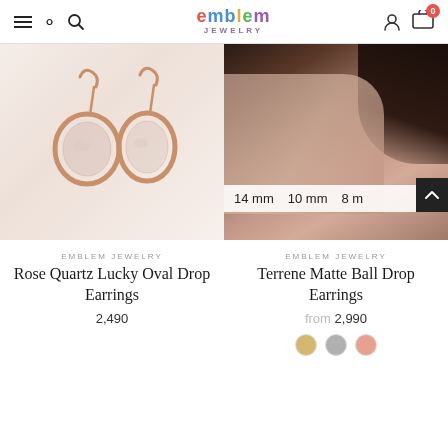emblem JEWELRY — navigation header with hamburger menu, search, account, and cart (0 items)
[Figure (photo): Rose quartz oval drop earrings in rose gold setting on white background]
EMBLEM JEWELRY
Rose Quartz Lucky Oval Drop Earrings
2,490
[Figure (photo): Close-up of woman's ear wearing drop earring; size selector bar showing 14 mm, 10 mm, 8 m(m); scroll-to-top button]
EMBLEM JEWELRY
Terrene Matte Ball Drop Earrings
from  2,990